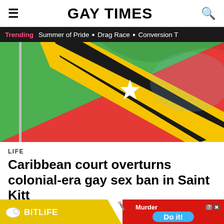GAY TIMES
Trending  Summer of Pride  ■  Drag Race  ■  Conversion T
[Figure (photo): Saint Kitts and Nevis national flag waving against a bright blue sky, showing the distinctive diagonal black band with gold borders and white star, green upper left, red lower right triangles]
LIFE
Caribbean court overturns colonial-era gay sex ban in Saint Kitt
BY SA